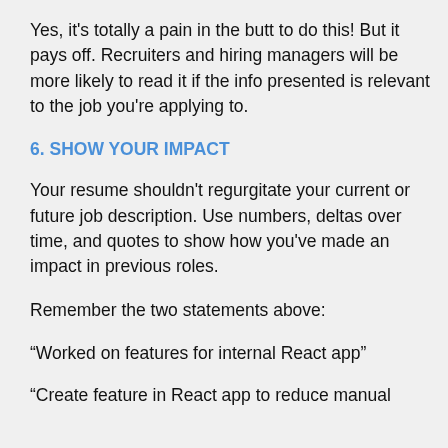Yes, it's totally a pain in the butt to do this! But it pays off. Recruiters and hiring managers will be more likely to read it if the info presented is relevant to the job you're applying to.
6. SHOW YOUR IMPACT
Your resume shouldn't regurgitate your current or future job description. Use numbers, deltas over time, and quotes to show how you've made an impact in previous roles.
Remember the two statements above:
“Worked on features for internal React app”
“Create feature in React app to reduce manual